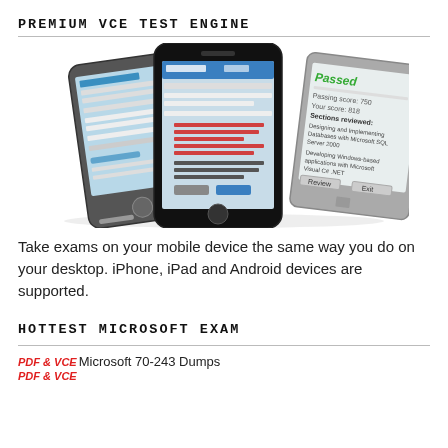PREMIUM VCE TEST ENGINE
[Figure (photo): Three mobile phones (Android, iPhone, Windows Phone) displaying exam/test interface screens, arranged overlapping each other.]
Take exams on your mobile device the same way you do on your desktop. iPhone, iPad and Android devices are supported.
HOTTEST MICROSOFT EXAM
PDF & VCE Microsoft 70-243 Dumps
PDF & VCE